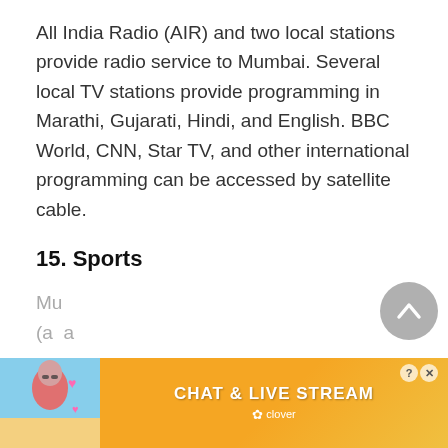All India Radio (AIR) and two local stations provide radio service to Mumbai. Several local TV stations provide programming in Marathi, Gujarati, Hindi, and English. BBC World, CNN, Star TV, and other international programming can be accessed by satellite cable.
15. Sports
Mu... (a ...
[Figure (other): Advertisement banner reading CHAT & LIVE STREAM with clover branding, partially visible image of a person on a beach with heart emojis]